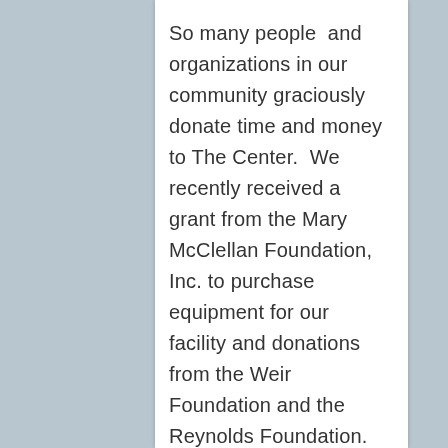So many people  and organizations in our community graciously donate time and money to The Center.  We recently received a grant from the Mary McClellan Foundation, Inc. to purchase equipment for our facility and donations from the Weir Foundation and the Reynolds Foundation.  To learn more about these foundations please click on the links below.  We are so thankful!